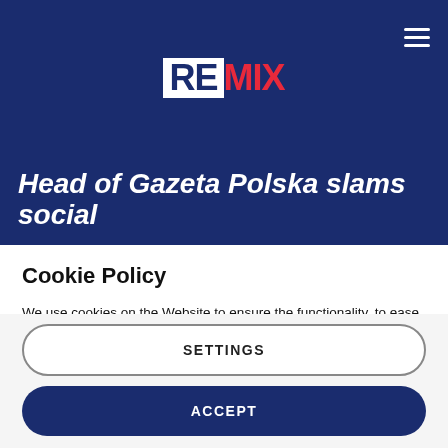REMIX
Head of Gazeta Polska slams social
Cookie Policy
We use cookies on the Website to ensure the functionality, to ease of use and security of the website, as well as to monitor user activity and to collect information about your browsing habits in order to make advertising relevant to you and your interests.
Clicking on "Accept" you can allow all cookies. If you would like to reject or customize, please click on "Settings".
Read more: Cookie Policy
SETTINGS
ACCEPT